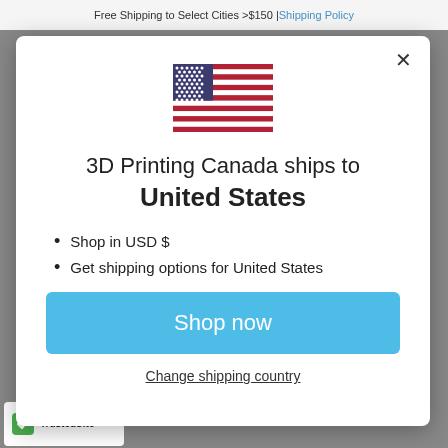Free Shipping to Select Cities >$150 | Shipping Policy
[Figure (illustration): US flag icon]
3D Printing Canada ships to United States
Shop in USD $
Get shipping options for United States
Shop now
Change shipping country
[Figure (logo): TrustedSite logo badge]